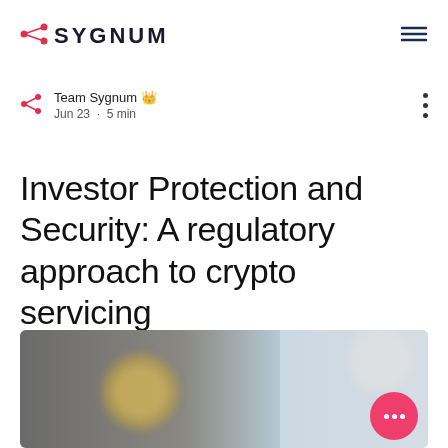SYGNUM
Team Sygnum  Jun 23 · 5 min
Investor Protection and Security: A regulatory approach to crypto servicing
[Figure (photo): Blurred photo of a coin or cryptocurrency token on a light background, with a pink circular button overlay showing three white dots (more options button).]